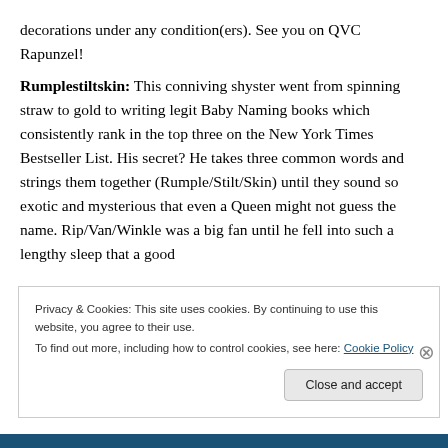decorations under any condition(ers). See you on QVC Rapunzel!
Rumplestiltskin: This conniving shyster went from spinning straw to gold to writing legit Baby Naming books which consistently rank in the top three on the New York Times Bestseller List. His secret? He takes three common words and strings them together (Rumple/Stilt/Skin) until they sound so exotic and mysterious that even a Queen might not guess the name. Rip/Van/Winkle was a big fan until he fell into such a lengthy sleep that a good
Privacy & Cookies: This site uses cookies. By continuing to use this website, you agree to their use. To find out more, including how to control cookies, see here: Cookie Policy